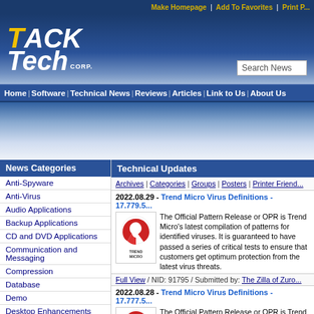Make Homepage | Add To Favorites | Print P...
[Figure (logo): TackTech Corp logo - yellow T with white ACK TECH CORP text on blue background]
Search News
Home | Software | Technical News | Reviews | Articles | Link to Us | About Us
News Categories
Anti-Spyware
Anti-Virus
Audio Applications
Backup Applications
CD and DVD Applications
Communication and Messaging
Compression
Database
Demo
Desktop Enhancements
Drivers
Technical Updates
Archives | Categories | Groups | Posters | Printer Friend...
2022.08.29 - Trend Micro Virus Definitions - 17.779.5...
The Official Pattern Release or OPR is Trend Micro's latest compilation of patterns for identified viruses. It is guaranteed to have passed a series of critical tests to ensure that customers get optimum protection from the latest virus threats.
Full View / NID: 91795 / Submitted by: The Zilla of Zuro...
2022.08.28 - Trend Micro Virus Definitions - 17.777.5...
The Official Pattern Release or OPR is Trend Micro's latest compilation of patterns for identified viruses. It is guaranteed to have passed a series of critical tests to